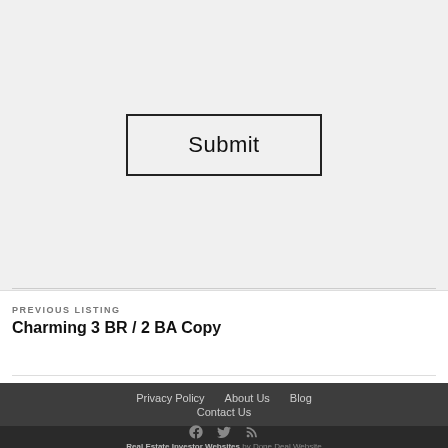[Figure (other): Submit button with black border on light gray background]
PREVIOUS LISTING
Charming 3 BR / 2 BA Copy
Privacy Policy   About Us   Blog   Contact Us
Real Estate Investor Websites by Done Deal Website